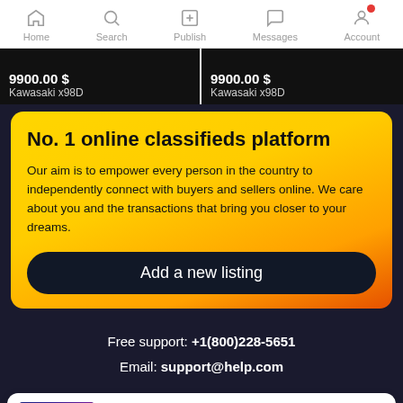Home | Search | Publish | Messages | Account
9900.00 $ Kawasaki x98D | 9900.00 $ Kawasaki x98D
No. 1 online classifieds platform
Our aim is to empower every person in the country to independently connect with buyers and sellers online. We care about you and the transactions that bring you closer to your dreams.
Add a new listing
Free support: +1(800)228-5651
Email: support@help.com
9900.00 $
Kawasaki x98D
by John Doe